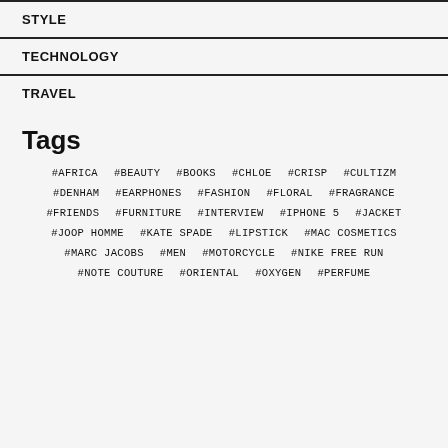STYLE
TECHNOLOGY
TRAVEL
Tags
#AFRICA #BEAUTY #BOOKS #CHLOE #CRISP #CULTIZM #DENHAM #EARPHONES #FASHION #FLORAL #FRAGRANCE #FRIENDS #FURNITURE #INTERVIEW #IPHONE 5 #JACKET #JOOP HOMME #KATE SPADE #LIPSTICK #MAC COSMETICS #MARC JACOBS #MEN #MOTORCYCLE #NIKE FREE RUN #NOTE COUTURE #ORIENTAL #OXYGEN #PERFUME